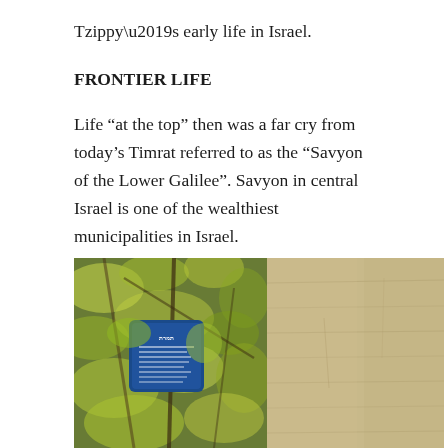Tzippy’s early life in Israel.
FRONTIER LIFE
Life “at the top” then was a far cry from today’s Timrat referred to as the “Savyon of the Lower Galilee”. Savyon in central Israel is one of the wealthiest municipalities in Israel.
[Figure (photo): Photograph split into two halves: the left half shows green leafy tree branches with a blue Hebrew-text plaque/sign partially visible among the foliage; the right half shows a light beige stone or concrete wall surface with subtle texture lines.]